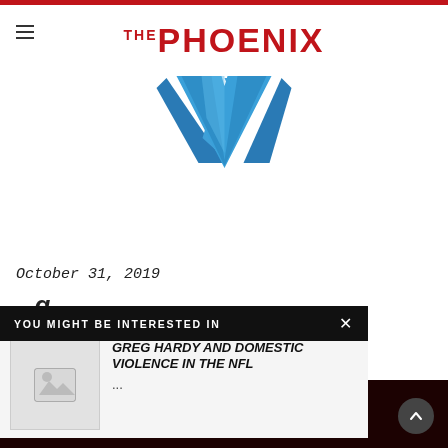THE PHOENIX
[Figure (logo): Blue angular chevron/check-mark logo for The Phoenix publication]
October 31, 2019
YOU MIGHT BE INTERESTED IN
[Figure (photo): Placeholder thumbnail image for article]
GREG HARDY AND DOMESTIC VIOLENCE IN THE NFL
...
THE PHOENIX